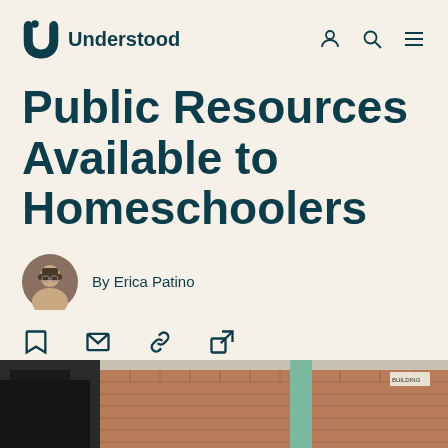Understood
Public Resources Available to Homeschoolers
By Erica Patino
[Figure (photo): Exterior photo of a brick school building]